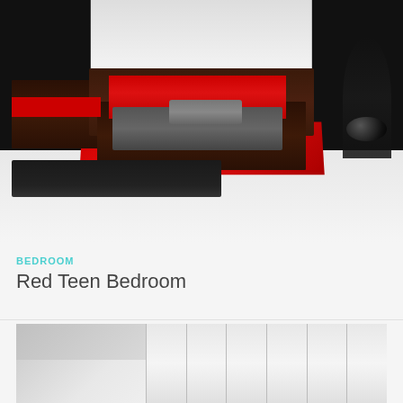[Figure (photo): Modern red teen bedroom with dark wood platform bed, red lacquered headboard accent, black bedding, black rug on white floor, dark room with large windows and black decor accents]
BEDROOM
Red Teen Bedroom
[Figure (photo): Partial view of modern white wardrobe/closet with glossy panels, light gray ceiling visible above]